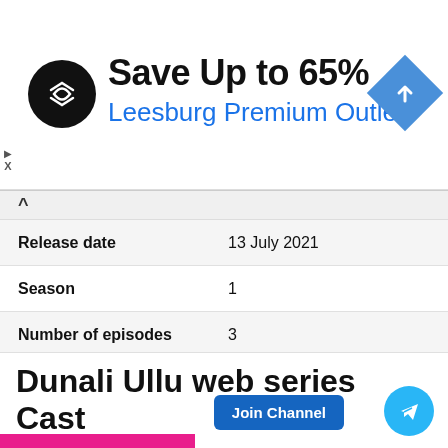[Figure (infographic): Advertisement banner: black circle logo with overlapping arrows, 'Save Up to 65%' heading, 'Leesburg Premium Outlets' blue link, blue diamond navigation icon on right]
|  |  |
| --- | --- |
| Release date | 13 July 2021 |
| Season | 1 |
| Number of episodes | 3 |
| Episode Runtime | 25 Minutes |
| Director | Imtiaz Alam |
Dunali Ullu web series Cast and Crew
[Figure (screenshot): Join Channel button (blue) and Telegram icon button (cyan circle) overlaid at bottom right]